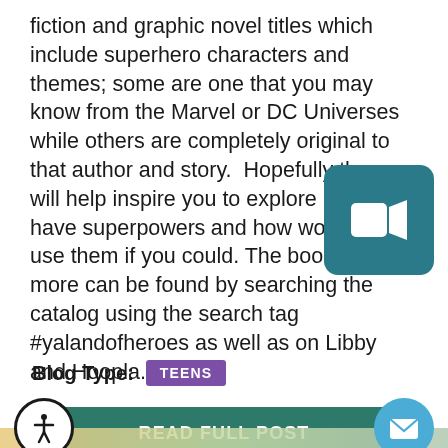fiction and graphic novel titles which include superhero characters and themes; some are one that you may know from the Marvel or DC Universes while others are completely original to that author and story.  Hopefully these will help inspire you to explore if you have superpowers and how would you use them if you could. The books and more can be found by searching the catalog using the search tag #yalandofheroes as well as on Libby and Hoopla.&...
[Figure (other): Teal/dark cyan rounded rectangle icon with a white video camera (FaceTime/Zoom style) icon in the center]
Blog Type: TEENS
READ FULL POST